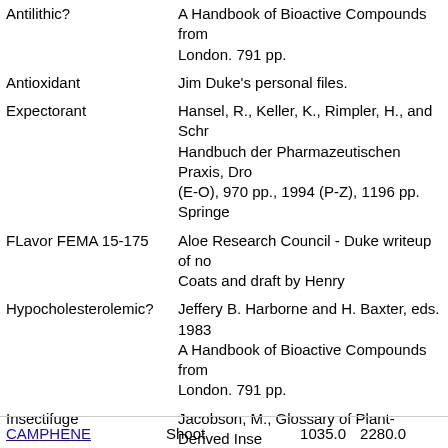| Activity | Reference |
| --- | --- |
| Antilithic? | A Handbook of Bioactive Compounds from London. 791 pp. |
| Antioxidant | Jim Duke's personal files. |
| Expectorant | Hansel, R., Keller, K., Rimpler, H., and Schr Handbuch der Pharmazeutischen Praxis, Dro (E-O), 970 pp., 1994 (P-Z), 1196 pp. Springe |
| FLavor FEMA 15-175 | Aloe Research Council - Duke writeup of no Coats and draft by Henry |
| Hypocholesterolemic? | Jeffery B. Harborne and H. Baxter, eds. 1983 A Handbook of Bioactive Compounds from London. 791 pp. |
| Insectifuge | Jacobson, M., Glossary of Plant-Derived Inse Inc., Boca Raton, FL, 213 p, 1990. |
| Pesticide |  |
| Spasmogenic | Fitoterapia No.59-1984. |
CAMPHENE    Shoot    1035.0    2280.0